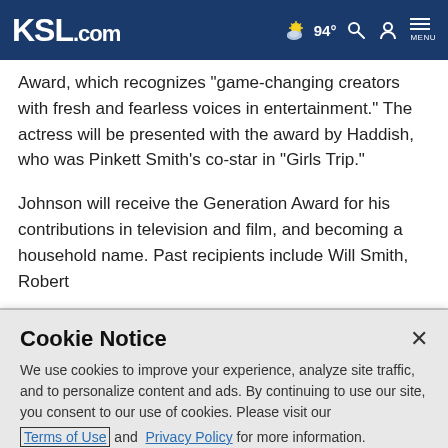KSL.com | 94° weather | search | account | menu
Award, which recognizes "game-changing creators with fresh and fearless voices in entertainment." The actress will be presented with the award by Haddish, who was Pinkett Smith's co-star in "Girls Trip."
Johnson will receive the Generation Award for his contributions in television and film, and becoming a household name. Past recipients include Will Smith, Robert
Cookie Notice
We use cookies to improve your experience, analyze site traffic, and to personalize content and ads. By continuing to use our site, you consent to our use of cookies. Please visit our Terms of Use and Privacy Policy for more information.
Continue